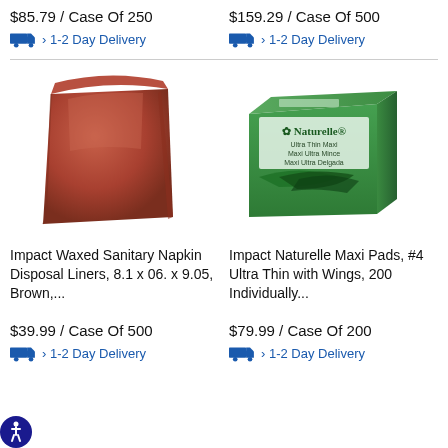$85.79 / Case Of 250
$159.29 / Case Of 500
› 1-2 Day Delivery
› 1-2 Day Delivery
[Figure (photo): Brown waxed paper bag / sanitary napkin disposal liner]
[Figure (photo): Naturelle Ultra Thin Maxi pads green box]
Impact Waxed Sanitary Napkin Disposal Liners, 8.1 x 06. x 9.05, Brown,...
Impact Naturelle Maxi Pads, #4 Ultra Thin with Wings, 200 Individually...
$39.99 / Case Of 500
$79.99 / Case Of 200
› 1-2 Day Delivery
› 1-2 Day Delivery